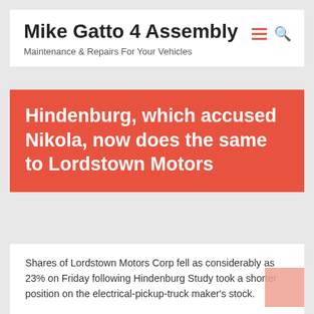Mike Gatto 4 Assembly
Maintenance & Repairs For Your Vehicles
Hindenburg, which accused Nikola, now does the same to Lordstown Motors
Shares of Lordstown Motors Corp fell as considerably as 23% on Friday following Hindenburg Study took a shorter position on the electrical-pickup-truck maker's stock.
“Lordstown is an electric powered motor vehicle SPAC with no revenue and no sellable product, which we believe has misled buyers on the top its desire and generation capabilities.